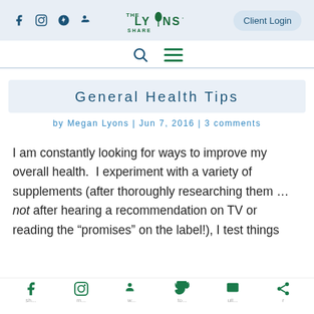The Lyons' Share — social icons (Facebook, Instagram, Pinterest), logo, Client Login
General Health Tips
by Megan Lyons | Jun 7, 2016 | 3 comments
I am constantly looking for ways to improve my overall health.  I experiment with a variety of supplements (after thoroughly researching them … not after hearing a recommendation on TV or reading the “promises” on the label!), I test things
Share icons: Facebook, Instagram, Pinterest, Twitter, Print, Share